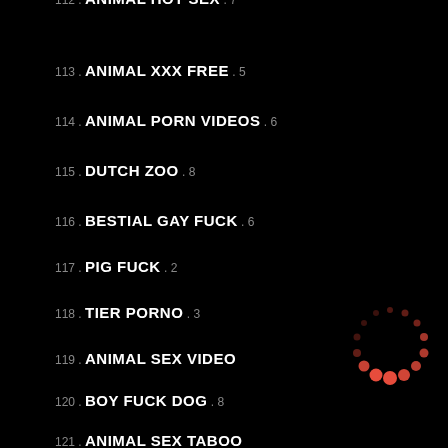112 . ANIMAL HOT SEX . 7
113 . ANIMAL XXX FREE . 5
114 . ANIMAL PORN VIDEOS . 6
115 . DUTCH ZOO . 8
116 . BESTIAL GAY FUCK . 6
117 . PIG FUCK . 2
118 . TIER PORNO . 3
119 . ANIMAL SEX VIDEO
120 . BOY FUCK DOG . 8
121 . ANIMAL SEX TABOO
122 . ZOO SEX PORN . 3
[Figure (other): Loading spinner graphic — a circular ring of red/orange dots of varying sizes arranged in a circle, resembling a loading indicator]